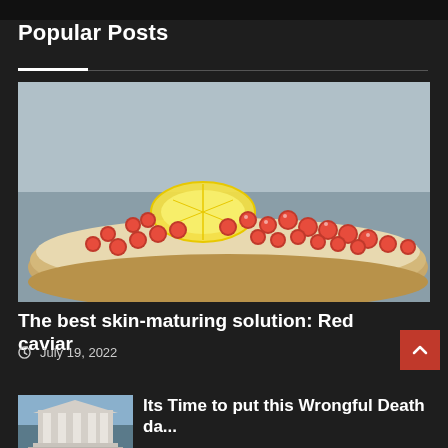Popular Posts
[Figure (photo): Close-up photo of red caviar (salmon roe) on a slice of bread with a lemon wedge garnish, on a gray background.]
The best skin-maturing solution: Red caviar
July 19, 2022
[Figure (photo): Photo of a classical government building with columns, likely a courthouse, against a blue sky.]
Its Time to put this Wrongful Death da...